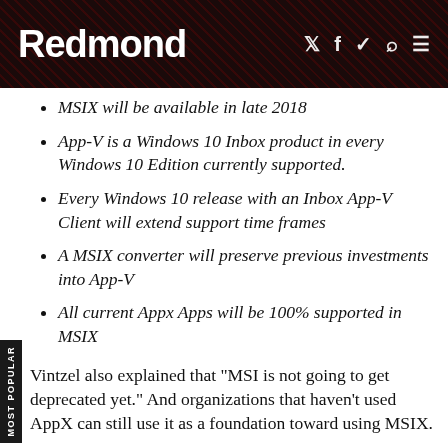Redmond
MSIX will be available in late 2018
App-V is a Windows 10 Inbox product in every Windows 10 Edition currently supported.
Every Windows 10 release with an Inbox App-V Client will extend support time frames
A MSIX converter will preserve previous investments into App-V
All current Appx Apps will be 100% supported in MSIX
Vintzel also explained that "MSI is not going to get deprecated yet." And organizations that haven't used AppX can still use it as a foundation toward using MSIX.
Freundorfer and Oosterhoff said that "starting in